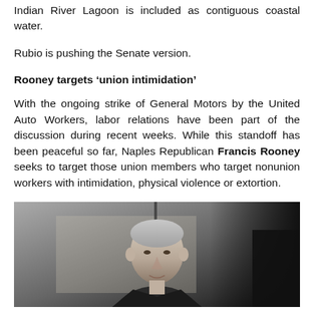Indian River Lagoon is included as contiguous coastal water.
Rubio is pushing the Senate version.
Rooney targets ‘union intimidation’
With the ongoing strike of General Motors by the United Auto Workers, labor relations have been part of the discussion during recent weeks. While this standoff has been peaceful so far, Naples Republican Francis Rooney seeks to target those union members who target nonunion workers with intimidation, physical violence or extortion.
[Figure (photo): Photo of a man with gray hair, appearing to be Francis Rooney, in a dark setting]